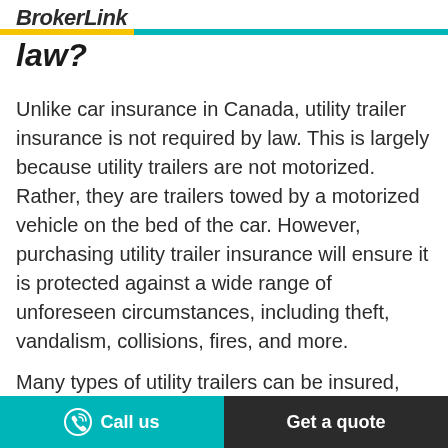BrokerLink
law?
Unlike car insurance in Canada, utility trailer insurance is not required by law. This is largely because utility trailers are not motorized. Rather, they are trailers towed by a motorized vehicle on the bed of the car. However, purchasing utility trailer insurance will ensure it is protected against a wide range of unforeseen circumstances, including theft, vandalism, collisions, fires, and more.
Many types of utility trailers can be insured, such as enclosed trailers, open-air
Call us | Get a quote